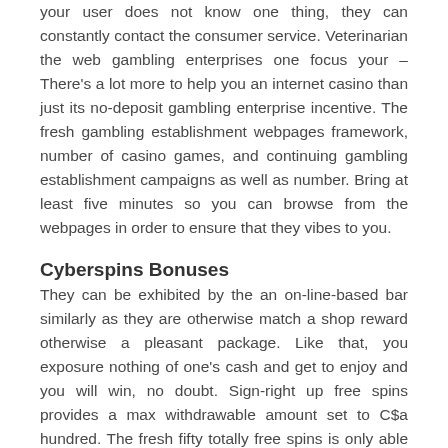your user does not know one thing, they can constantly contact the consumer service. Veterinarian the web gambling enterprises one focus your – There's a lot more to help you an internet casino than just its no-deposit gambling enterprise incentive. The fresh gambling establishment webpages framework, number of casino games, and continuing gambling establishment campaigns as well as number. Bring at least five minutes so you can browse from the webpages in order to ensure that they vibes to you.
Cyberspins Bonuses
They can be exhibited by the an on-line-based bar similarly as they are otherwise match a shop reward otherwise a pleasant package. Like that, you exposure nothing of one's cash and get to enjoy and you will win, no doubt. Sign-right up free spins provides a max withdrawable amount set to C$a hundred. The fresh fifty totally free spins is only able to be advertised by the unveiling a qualifying slot, in cases like this,